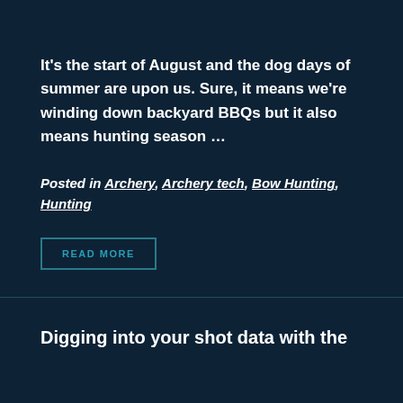It's the start of August and the dog days of summer are upon us. Sure, it means we're winding down backyard BBQs but it also means hunting season …
Posted in Archery, Archery tech, Bow Hunting, Hunting
READ MORE
Digging into your shot data with the